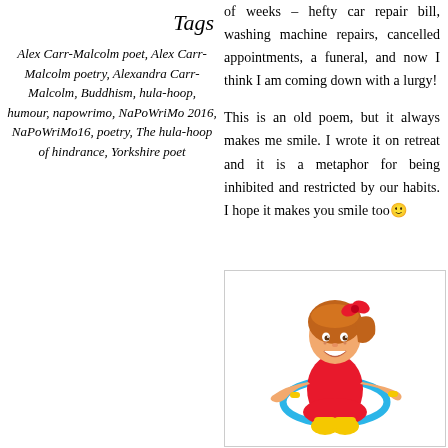Tags
Alex Carr-Malcolm poet, Alex Carr-Malcolm poetry, Alexandra Carr-Malcolm, Buddhism, hula-hoop, humour, napowrimo, NaPoWriMo 2016, NaPoWriMo16, poetry, The hula-hoop of hindrance, Yorkshire poet
of weeks – hefty car repair bill, washing machine repairs, cancelled appointments, a funeral, and now I think I am coming down with a lurgy!
This is an old poem, but it always makes me smile. I wrote it on retreat and it is a metaphor for being inhibited and restricted by our habits. I hope it makes you smile too 🙂
[Figure (illustration): Cartoon illustration of a smiling girl with red hair and a red bow, wearing a red dress and yellow boots, spinning a blue hula-hoop around her waist with arms outstretched.]